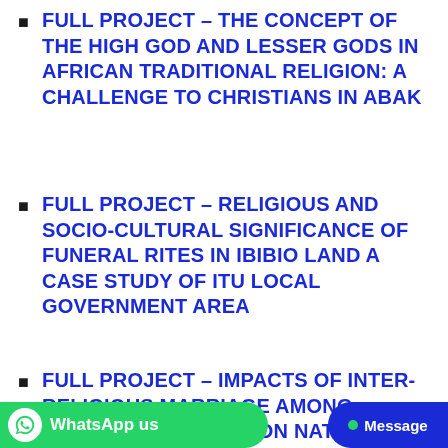FULL PROJECT – THE CONCEPT OF THE HIGH GOD AND LESSER GODS IN AFRICAN TRADITIONAL RELIGION: A CHALLENGE TO CHRISTIANS IN ABAK
FULL PROJECT – RELIGIOUS AND SOCIO-CULTURAL SIGNIFICANCE OF FUNERAL RITES IN IBIBIO LAND A CASE STUDY OF ITU LOCAL GOVERNMENT AREA
FULL PROJECT – IMPACTS OF INTER-RELIGIOUS MARRIAGE AMONG MUSLIM CHRISTIANS ON NATIONAL INTEGRATION IN NIGERIA A CASE STUDY